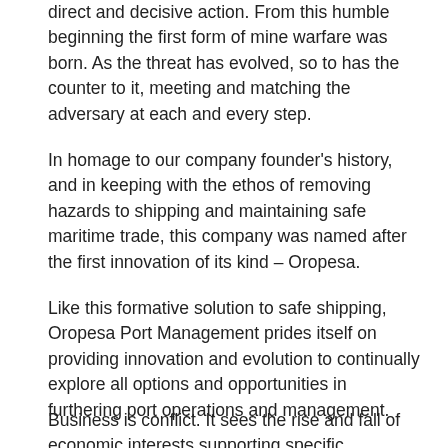direct and decisive action. From this humble beginning the first form of mine warfare was born. As the threat has evolved, so to has the counter to it, meeting and matching the adversary at each and every step.
In homage to our company founder's history, and in keeping with the ethos of removing hazards to shipping and maintaining safe maritime trade, this company was named after the first innovation of its kind – Oropesa.
Like this formative solution to safe shipping, Oropesa Port Management prides itself on providing innovation and evolution to continually explore all options and opportunities in furthering port operations and management.
Business is conflict. It sees the rise and fall of economic interests supporting specific, regional,